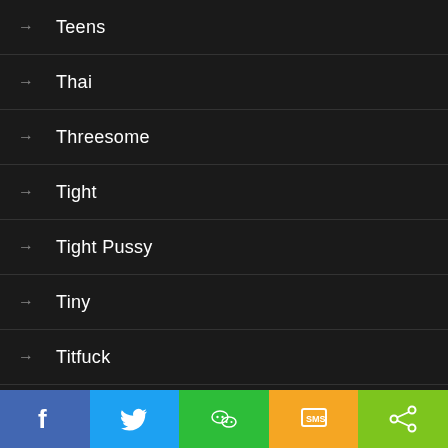Teens
Thai
Threesome
Tight
Tight Pussy
Tiny
Titfuck
Tits
Toy